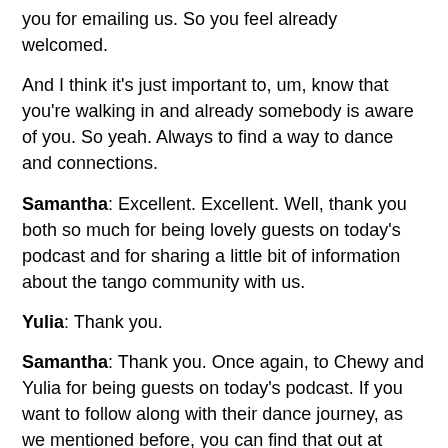you for emailing us. So you feel already welcomed.
And I think it's just important to, um, know that you're walking in and already somebody is aware of you. So yeah. Always to find a way to dance and connections.
Samantha: Excellent. Excellent. Well, thank you both so much for being lovely guests on today's podcast and for sharing a little bit of information about the tango community with us.
Yulia: Thank you.
Samantha: Thank you. Once again, to Chewy and Yulia for being guests on today's podcast. If you want to follow along with their dance journey, as we mentioned before, you can find that out at Pittsburgh Tango Connection or PGH Tango. Uh, links are in the description box below.